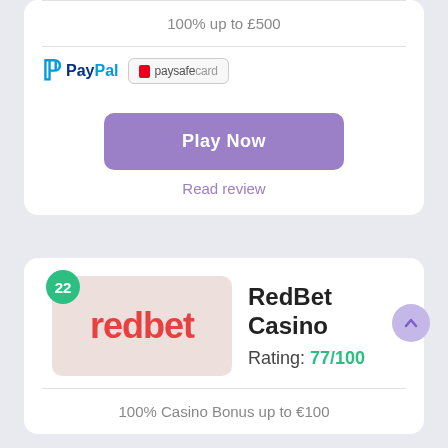100% up to £500
[Figure (logo): PayPal logo and paysafecard logo payment method icons]
Play Now
Read review
22
[Figure (logo): RedBet casino logo - red text 'redbet' on light pink background]
RedBet Casino
Rating: 77/100
100% Casino Bonus up to €100